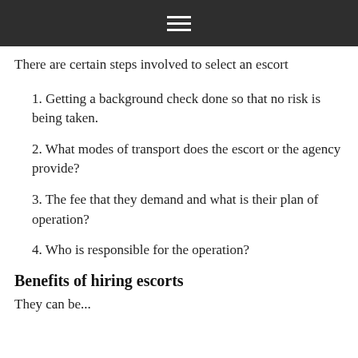[hamburger menu icon]
There are certain steps involved to select an escort
1. Getting a background check done so that no risk is being taken.
2. What modes of transport does the escort or the agency provide?
3. The fee that they demand and what is their plan of operation?
4. Who is responsible for the operation?
Benefits of hiring escorts
They can be...